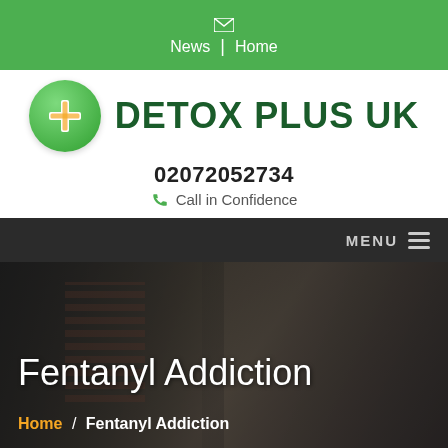News | Home
[Figure (logo): Detox Plus UK logo: green circle with orange plus sign, text DETOX PLUS UK in dark green bold capitals]
02072052734
Call in Confidence
MENU
[Figure (photo): Two men in a consultation session, blurred background with brick wall, dark overlay. Title: Fentanyl Addiction. Breadcrumb: Home / Fentanyl Addiction]
Fentanyl Addiction
Home / Fentanyl Addiction